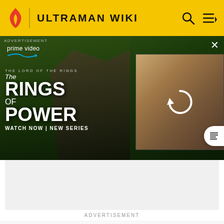ULTRAMAN WIKI
[Figure (screenshot): Amazon Prime Video advertisement for The Lord of the Rings: The Rings of Power — watch now new series. Shows two characters from the show on the left, and a blurred/reload state image on the right.]
ADVERTISEMENT
MORE INFORMATION
Top Contributors